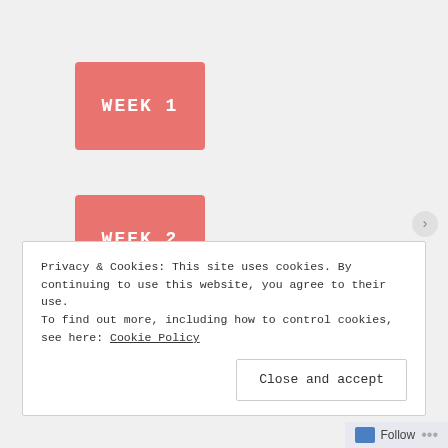[Figure (other): Pink/salmon colored button labeled WEEK 1]
[Figure (other): Pink/salmon colored button labeled WEEK 2]
Privacy & Cookies: This site uses cookies. By continuing to use this website, you agree to their use.
To find out more, including how to control cookies, see here: Cookie Policy
Close and accept